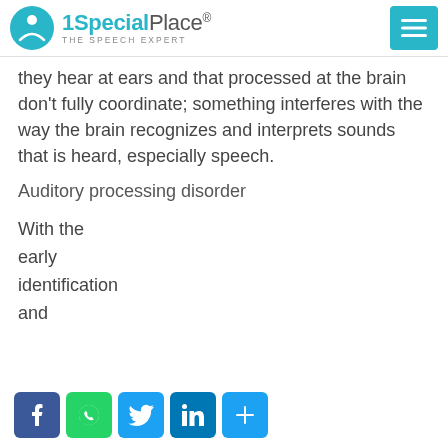1SpecialPlace THE SPEECH EXPERT
they hear at ears and that processed at the brain don't fully coordinate; something interferes with the way the brain recognizes and interprets sounds that is heard, especially speech.
Auditory processing disorder
With the
early
identification
and
[Figure (other): Social sharing buttons: Facebook, WhatsApp, Twitter, LinkedIn, Share]